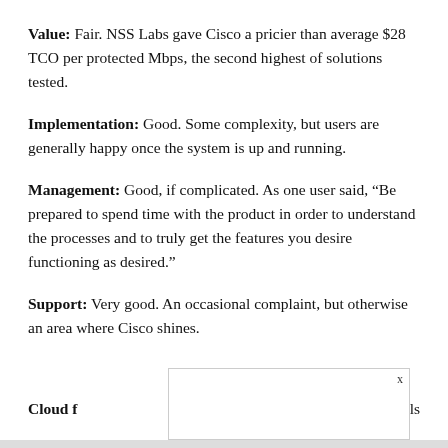Value: Fair. NSS Labs gave Cisco a pricier than average $28 TCO per protected Mbps, the second highest of solutions tested.
Implementation: Good. Some complexity, but users are generally happy once the system is up and running.
Management: Good, if complicated. As one user said, “Be prepared to spend time with the product in order to understand the processes and to truly get the features you desire functioning as desired.”
Support: Very good. An occasional complaint, but otherwise an area where Cisco shines.
Cloud f…alls